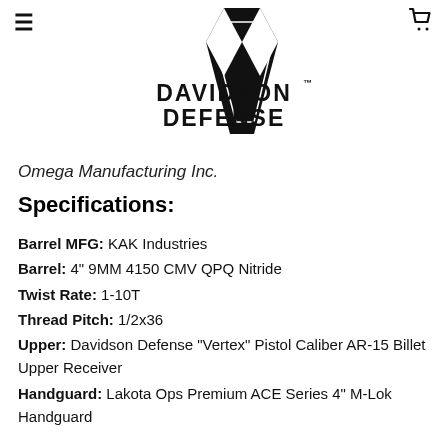[Figure (logo): Davidson Defense logo with shield emblem and text 'DAVIDSON DEFENSE TM']
Omega Manufacturing Inc.
Specifications:
Barrel MFG: KAK Industries
Barrel: 4" 9MM 4150 CMV QPQ Nitride
Twist Rate: 1-10T
Thread Pitch: 1/2x36
Upper: Davidson Defense "Vertex" Pistol Caliber AR-15 Billet Upper Receiver
Handguard: Lakota Ops Premium ACE Series 4" M-Lok Handguard